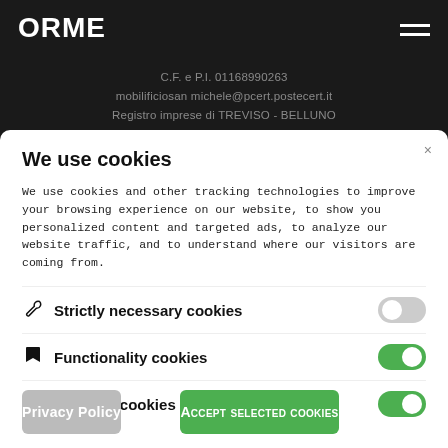[Figure (logo): ORME logo in white bold text on dark background]
C.F. e P.I. 01168990263
mobilificiosan michele@pcert.postecert.it
Registro imprese di TREVISO - BELLUNO
REA TV-145550
Capitale sociale 420.400,00 €
We use cookies
We use cookies and other tracking technologies to improve your browsing experience on our website, to show you personalized content and targeted ads, to analyze our website traffic, and to understand where our visitors are coming from.
Strictly necessary cookies
Functionality cookies
Tracking cookies
Privacy Policy
Accept selected cookies